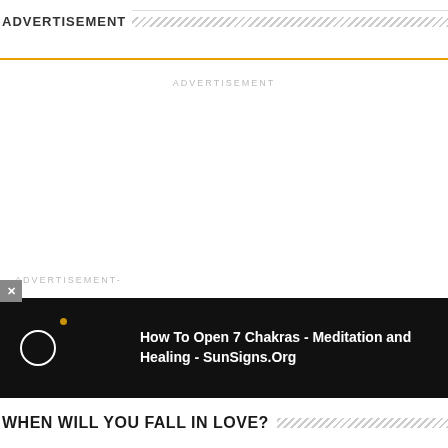ADVERTISEMENT
[Figure (other): Orange-bordered advertisement banner placeholder]
ADVERTISEMENT
-ADVERTISEMENT-
[Figure (screenshot): Video overlay with dark background showing circle icon and gold dot, with title 'How To Open 7 Chakras - Meditation and Healing - SunSigns.Org']
WHEN WILL YOU FALL IN LOVE?